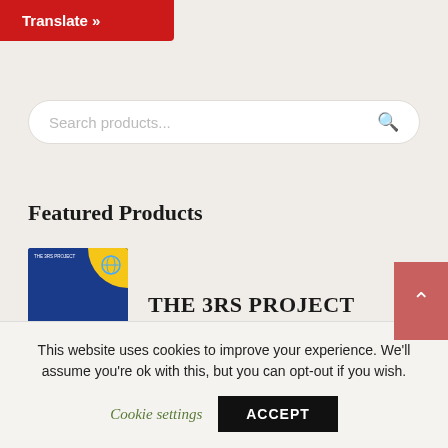[Figure (screenshot): Red Translate button with right double-arrow]
[Figure (screenshot): Search products input bar with magnifying glass icon]
Featured Products
[Figure (illustration): Book cover for THE 3RS PROJECT - dark blue with yellow corner accent]
THE 3RS PROJECT
£1.00
This website uses cookies to improve your experience. We'll assume you're ok with this, but you can opt-out if you wish.
Cookie settings
ACCEPT